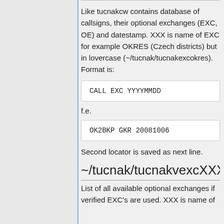Like tucnakcw contains database of callsigns, their optional exchanges (EXC, OE) and datestamp. XXX is name of EXC for example OKRES (Czech districts) but in lovercase (~/tucnak/tucnakexcokres). Format is:
CALL EXC YYYYMMDD
f.e.
OK2BKP GKR 20081006
Second locator is saved as next line.
~/tucnak/tucnakvexcXXX
List of all available optional exchanges if verified EXC's are used. XXX is name of